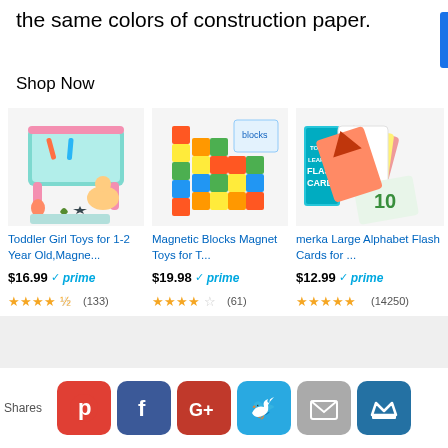the same colors of construction paper.
Shop Now
[Figure (photo): Toddler girl magnetic drawing board table toy with pink legs and accessories]
Toddler Girl Toys for 1-2 Year Old,Magne...
$16.99 ✓prime ★★★★☆ (133)
[Figure (photo): Colorful magnetic building blocks arranged in a creative structure]
Magnetic Blocks Magnet Toys for T...
$19.98 ✓prime ★★★★☆ (61)
[Figure (photo): Toddler Learning Flash Cards box set with alphabet and number cards]
merka Large Alphabet Flash Cards for ...
$12.99 ✓prime ★★★★★ (14250)
Ads by Amazon
Shares